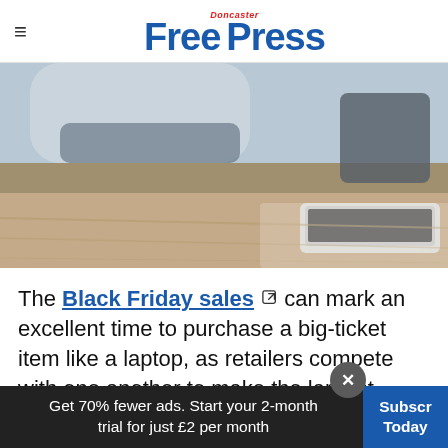Doncaster Free Press
[Figure (photo): Overhead view of a person using a laptop on a wooden floor, with a bag nearby]
The Black Friday sales ↗ can mark an excellent time to purchase a big-ticket item like a laptop, as retailers compete with one another to make the largest reductions. It's a buyer's market.
Support quality local journalism
Get 70% fewer ads. Start your 2-month trial for just £2 per month
Subscribe Today